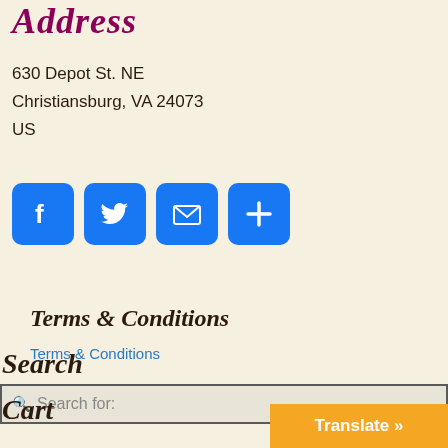Address
630 Depot St. NE
Christiansburg, VA 24073
US
[Figure (infographic): Four blue social media/share icon buttons: Facebook (f), Twitter (bird), Email (envelope), and Add/Share (+)]
Terms & Conditions
Terms & Conditions
Search
Search for:
Cart
Translate »